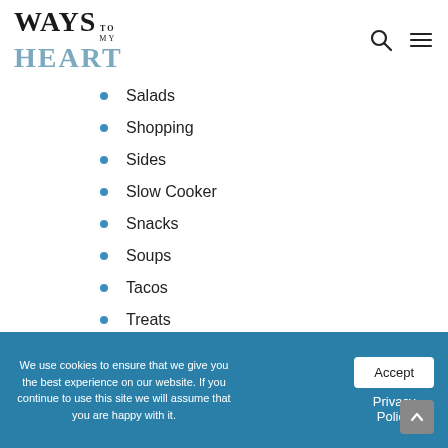[Figure (logo): Ways to My Heart blog logo with stylized text]
Salads
Shopping
Sides
Slow Cooker
Snacks
Soups
Tacos
Treats
Whole30
Recent Blog Post
We use cookies to ensure that we give you the best experience on our website. If you continue to use this site we will assume that you are happy with it.
Accept
Privacy Policy